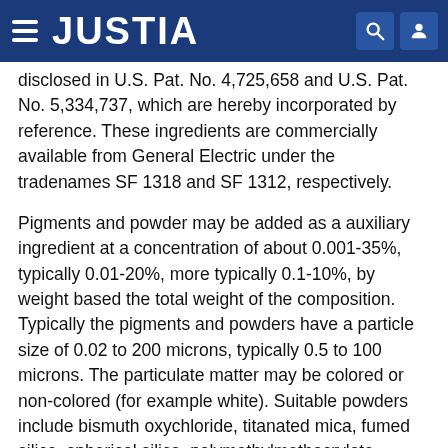JUSTIA
disclosed in U.S. Pat. No. 4,725,658 and U.S. Pat. No. 5,334,737, which are hereby incorporated by reference. These ingredients are commercially available from General Electric under the tradenames SF 1318 and SF 1312, respectively.
Pigments and powder may be added as a auxiliary ingredient at a concentration of about 0.001-35%, typically 0.01-20%, more typically 0.1-10%, by weight based the total weight of the composition. Typically the pigments and powders have a particle size of 0.02 to 200 microns, typically 0.5 to 100 microns. The particulate matter may be colored or non-colored (for example white). Suitable powders include bismuth oxychloride, titanated mica, fumed silica, spherical silica, polymethylmethacrylate, micronized teflon, boron nitride, acrylate copolymers, aluminum silicate